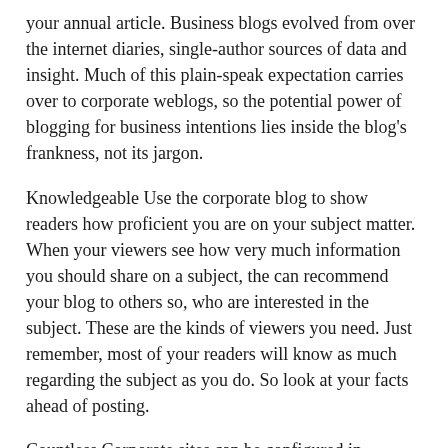your annual article. Business blogs evolved from over the internet diaries, single-author sources of data and insight. Much of this plain-speak expectation carries over to corporate weblogs, so the potential power of blogging for business intentions lies inside the blog's frankness, not its jargon.
Knowledgeable Use the corporate blog to show readers how proficient you are on your subject matter. When your viewers see how very much information you should share on a subject, the can recommend your blog to others so, who are interested in the subject. These are the kinds of viewers you need. Just remember, most of your readers will know as much regarding the subject as you do. So look at your facts ahead of posting.
Countless Corporate sites can be configured in unlimited ways to serve endless functions. They can standalone, be part of a site, or participate in a larger network of sites. Because the technological aspects of a corporate blog will be limitless, also are the uses for the blog.